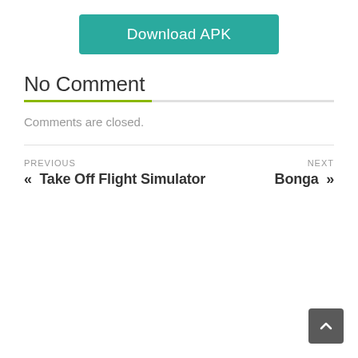[Figure (other): Download APK button — teal/green rounded rectangle button with white text]
No Comment
Comments are closed.
PREVIOUS « Take Off Flight Simulator
NEXT Bonga »